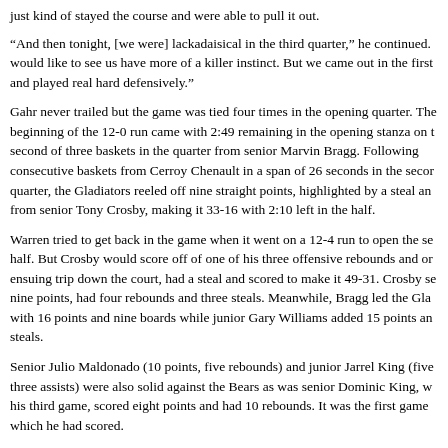just kind of stayed the course and were able to pull it out.
“And then tonight, [we were] lackadaisical in the third quarter,” he continued. would like to see us have more of a killer instinct. But we came out in the first and played real hard defensively.”
Gahr never trailed but the game was tied four times in the opening quarter. The beginning of the 12-0 run came with 2:49 remaining in the opening stanza on t second of three baskets in the quarter from senior Marvin Bragg. Following consecutive baskets from Cerroy Chenault in a span of 26 seconds in the secor quarter, the Gladiators reeled off nine straight points, highlighted by a steal an from senior Tony Crosby, making it 33-16 with 2:10 left in the half.
Warren tried to get back in the game when it went on a 12-4 run to open the se half. But Crosby would score off of one of his three offensive rebounds and or ensuing trip down the court, had a steal and scored to make it 49-31. Crosby se nine points, had four rebounds and three steals. Meanwhile, Bragg led the Gla with 16 points and nine boards while junior Gary Williams added 15 points an steals.
Senior Julio Maldonado (10 points, five rebounds) and junior Jarrel King (five three assists) were also solid against the Bears as was senior Dominic King, w his third game, scored eight points and had 10 rebounds. It was the first game which he had scored.